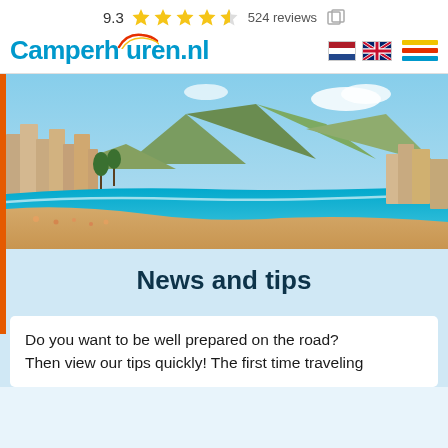9.3  ★★★★½  524 reviews
[Figure (logo): Camperhuren.nl logo with arc graphic, Dutch and UK flag icons, and hamburger menu with yellow, red, and blue stripes]
[Figure (photo): Coastal beach scene with turquoise water, sandy beach with sunbathers, seaside buildings and a mountain in the background under a blue sky]
News and tips
Do you want to be well prepared on the road? Then view our tips quickly! The first time traveling